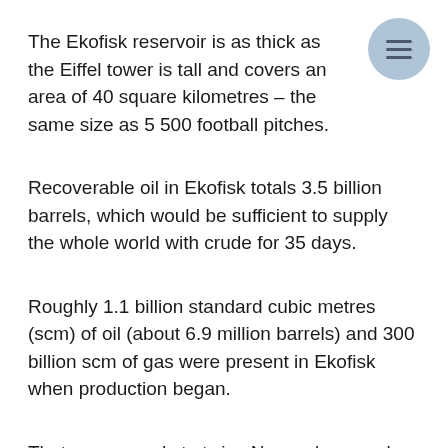The Ekofisk reservoir is as thick as the Eiffel tower is tall and covers an area of 40 square kilometres – the same size as 5 500 football pitches.
Recoverable oil in Ekofisk totals 3.5 billion barrels, which would be sufficient to supply the whole world with crude for 35 days.
Roughly 1.1 billion standard cubic metres (scm) of oil (about 6.9 million barrels) and 300 billion scm of gas were present in Ekofisk when production began.
That corresponds to twice Norway's annual water production. It also represents more than 100 times annual Norwegian energy consumption and just over 100 days of